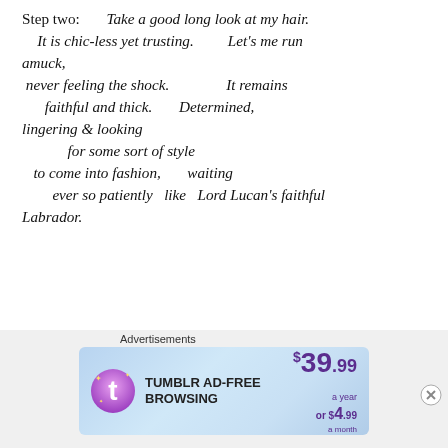Step two:        Take a good long look at my hair.
    It is chic-less yet trusting.             Let's me run amuck,
 never feeling the shock.                    It remains
        faithful and thick.        Determined,
lingering & looking
                for some sort of style
    to come into fashion,          waiting
            ever so patiently     like      Lord Lucan's faithful Labrador.
Step three:    Observe how my ears tip the scales, soundly
built but small gauge, off balance. Can your brush strokes
[Figure (other): Tumblr AD-FREE BROWSING advertisement banner showing $39.99 a year or $4.99 a month pricing with Tumblr logo]